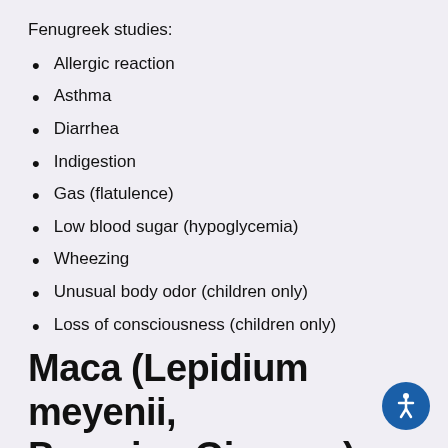Fenugreek studies:
Allergic reaction
Asthma
Diarrhea
Indigestion
Gas (flatulence)
Low blood sugar (hypoglycemia)
Wheezing
Unusual body odor (children only)
Loss of consciousness (children only)
Maca (Lepidium meyenii, Peruvian Ginseng)
To many, Maca has super-secret super-powers and is known to improve energy and stamina, enhance sex drive, and improve fertility in both men and